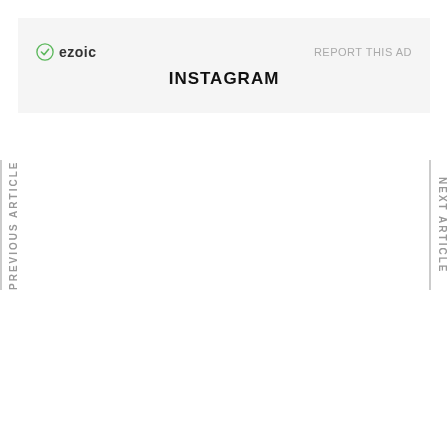[Figure (other): Ezoic ad banner with logo, 'REPORT THIS AD' link, and 'INSTAGRAM' label on light gray background]
PREVIOUS ARTICLE
NEXT ARTICLE